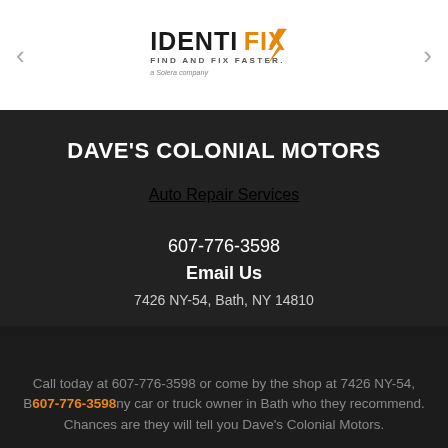[Figure (logo): Identifix logo with text IDENTIFIX FIND AND FIX FASTER. a Solera company, with orange lightning bolt graphic]
DAVE'S COLONIAL MOTORS
Auto Repair Services
607-776-3598
Email Us
7426 NY-54, Bath, NY 14810
TAP TO CALL NOW
607-776-3598
Call today at 607-776-3598 or come by the shop at 7426 NY-54, Bath, NY 14810. Ask any car or truck owner in Bath who they recommend. Chances are they will tell you Dave's Colonial Motors.